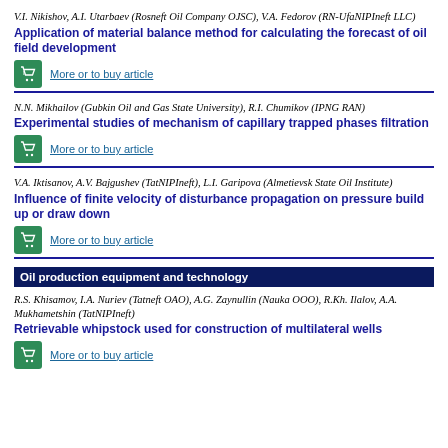V.I. Nikishov, A.I. Utarbaev (Rosneft Oil Company OJSC), V.A. Fedorov (RN-UfaNIPIneft LLC)
Application of material balance method for calculating the forecast of oil field development
More or to buy article
N.N. Mikhailov (Gubkin Oil and Gas State University), R.I. Chumikov (IPNG RAN)
Experimental studies of mechanism of capillary trapped phases filtration
More or to buy article
V.A. Iktisanov, A.V. Bajgushev (TatNIPIneft), L.I. Garipova (Almetievsk State Oil Institute)
Influence of finite velocity of disturbance propagation on pressure build up or draw down
More or to buy article
Oil production equipment and technology
R.S. Khisamov, I.A. Nuriev (Tatneft OAO), A.G. Zaynullin (Nauka OOO), R.Kh. Ilalov, A.A. Mukhametshin (TatNIPIneft)
Retrievable whipstock used for construction of multilateral wells
More or to buy article